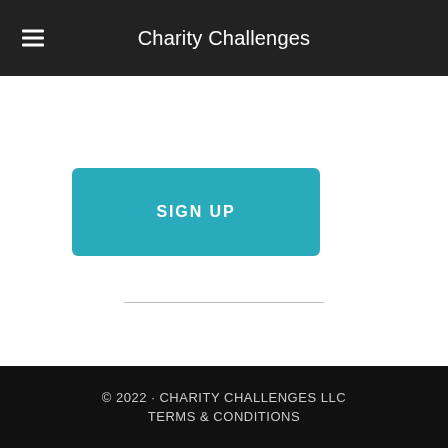Charity Challenges
[Figure (other): SIGN UP button — teal rounded rectangle with white bold uppercase text]
© 2022 · CHARITY CHALLENGES LLC
TERMS & CONDITIONS